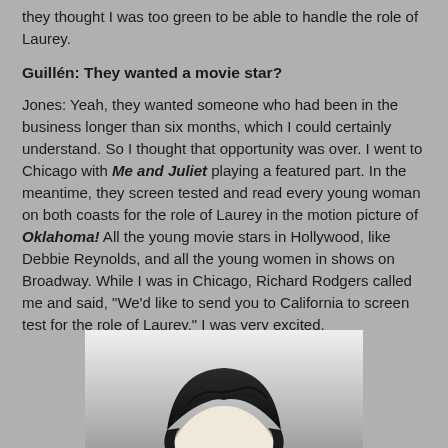they thought I was too green to be able to handle the role of Laurey.
Guillén: They wanted a movie star?
Jones: Yeah, they wanted someone who had been in the business longer than six months, which I could certainly understand. So I thought that opportunity was over. I went to Chicago with Me and Juliet playing a featured part. In the meantime, they screen tested and read every young woman on both coasts for the role of Laurey in the motion picture of Oklahoma! All the young movie stars in Hollywood, like Debbie Reynolds, and all the young women in shows on Broadway. While I was in Chicago, Richard Rodgers called me and said, "We'd like to send you to California to screen test for the role of Laurey." I was very excited.
[Figure (photo): Black and white photograph showing the top of a person's head with dark hair, cropped at the forehead, against a light background.]